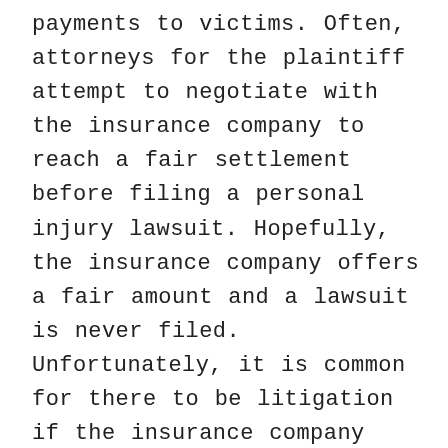payments to victims. Often, attorneys for the plaintiff attempt to negotiate with the insurance company to reach a fair settlement before filing a personal injury lawsuit. Hopefully, the insurance company offers a fair amount and a lawsuit is never filed. Unfortunately, it is common for there to be litigation if the insurance company disputes a claim or refuses to settle. If the plaintiff is successful in court, the insurance company usually is legally bound to pay out damages awarded by the court.
In some cases, insurance payouts may be limited by the level of coverage held by the defendant. For example, automobile